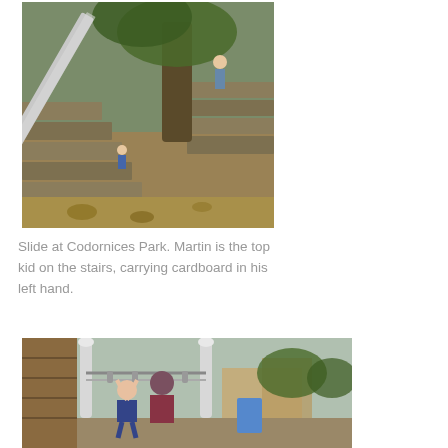[Figure (photo): Outdoor slide at Codornices Park with stone steps alongside, trees providing shade, and a child visible at top of stairs carrying cardboard]
Slide at Codornices Park. Martin is the top kid on the stairs, carrying cardboard in his left hand.
[Figure (photo): Child on playground equipment with metal poles and zip line or overhead bars, outdoor setting with trees and buildings in background]